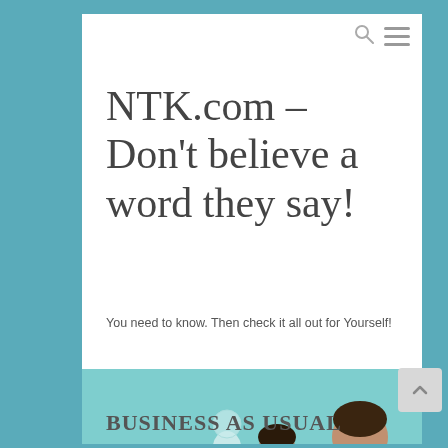NTK.com – Don't believe a word they say!
You need to know. Then check it all out for Yourself!
[Figure (photo): Banner image for ntk.com showing chess pieces, a woman with head in hands, and a man thinking, with 'ntk.com' text overlay]
BUSINESS AS USUAL